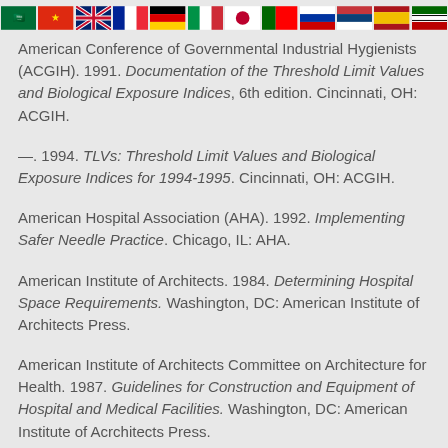[Figure (other): Row of international flags across the top of the page]
American Conference of Governmental Industrial Hygienists (ACGIH). 1991. Documentation of the Threshold Limit Values and Biological Exposure Indices, 6th edition. Cincinnati, OH: ACGIH.
—. 1994. TLVs: Threshold Limit Values and Biological Exposure Indices for 1994-1995. Cincinnati, OH: ACGIH.
American Hospital Association (AHA). 1992. Implementing Safer Needle Practice. Chicago, IL: AHA.
American Institute of Architects. 1984. Determining Hospital Space Requirements. Washington, DC: American Institute of Architects Press.
American Institute of Architects Committee on Architecture for Health. 1987. Guidelines for Construction and Equipment of Hospital and Medical Facilities. Washington, DC: American Institute of Acrchitects Press.